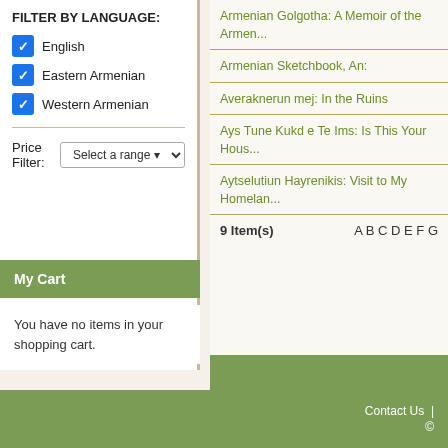FILTER BY LANGUAGE:
English
Eastern Armenian
Western Armenian
Price Filter: Select a range
My Cart
You have no items in your shopping cart.
Armenian Golgotha: A Memoir of the Armen...
Armenian Sketchbook, An:
Averaknerun mej: In the Ruins
Ays Tune Kukd e Te Ims: Is This Your Hous...
Aytselutiun Hayrenikis: Visit to My Homelan...
9 Item(s)   A B C D E F G
Contact Us | ©